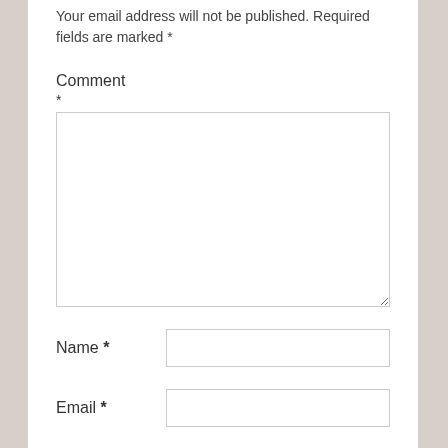Your email address will not be published. Required fields are marked *
Comment
*
[Figure (other): Comment text area input box]
Name *
[Figure (other): Name text input field]
Email *
[Figure (other): Email text input field]
[Figure (other): Third text input field (partially visible)]